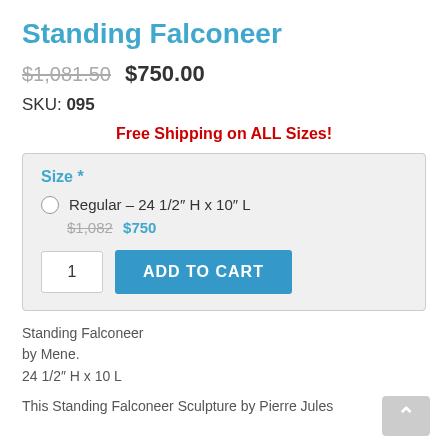Standing Falconeer
$1,081.50 $750.00
SKU: 095
Free Shipping on ALL Sizes!
Size * Regular – 24 1/2" H x 10" L $1,082 $750
Standing Falconeer
by Mene.
24 1/2" H x 10 L
This Standing Falconeer Sculpture by Pierre Jules